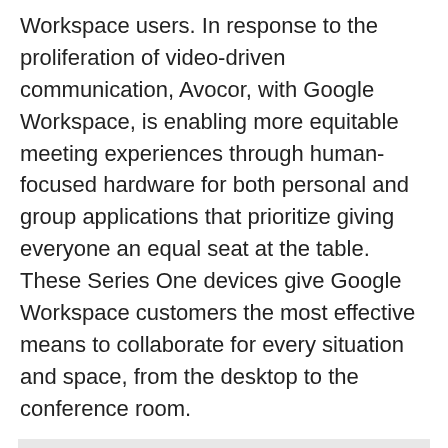Workspace users. In response to the proliferation of video-driven communication, Avocor, with Google Workspace, is enabling more equitable meeting experiences through human-focused hardware for both personal and group applications that prioritize giving everyone an equal seat at the table.  These Series One devices give Google Workspace customers the most effective means to collaborate for every situation and space, from the desktop to the conference room.
Developed with Google Workspace to bring meeting equity to everyone both in-person and remote, the new Google Meet Series One Desk 27 and Board 65 by Avocor combine video conferencing and digital whiteboarding to provide robust meeting experiences for teams looking for more inclusive and immersive collaboration.